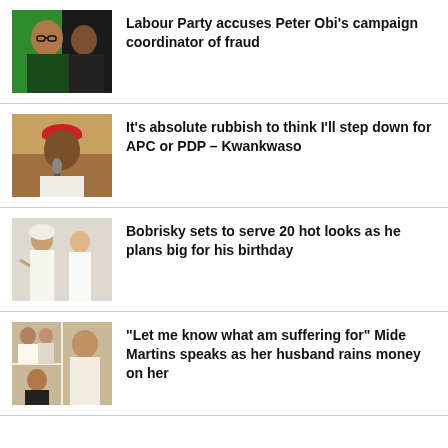[Figure (photo): Two men against a green background]
Labour Party accuses Peter Obi's campaign coordinator of fraud
[Figure (photo): Man in red cap speaking into a microphone]
It's absolute rubbish to think I'll step down for APC or PDP – Kwankwaso
[Figure (photo): People in white outfits]
Bobrisky sets to serve 20 hot looks as he plans big for his birthday
[Figure (photo): Collage of people at a celebration event]
"Let me know what am suffering for" Mide Martins speaks as her husband rains money on her